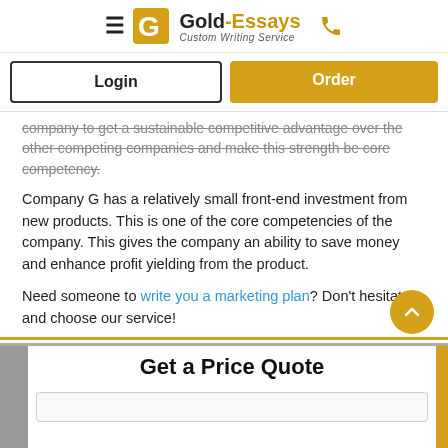[Figure (logo): Gold-Essays Custom Writing Service logo with hamburger menu and phone icon]
Login
Order
company to get a sustainable competitive advantage over the other competing companies and make this strength be core competency.
Company G has a relatively small front-end investment from new products. This is one of the core competencies of the company. This gives the company an ability to save money and enhance profit yielding from the product.
Need someone to write you a marketing plan? Don't hesitate and choose our service!
Get a Price Quote